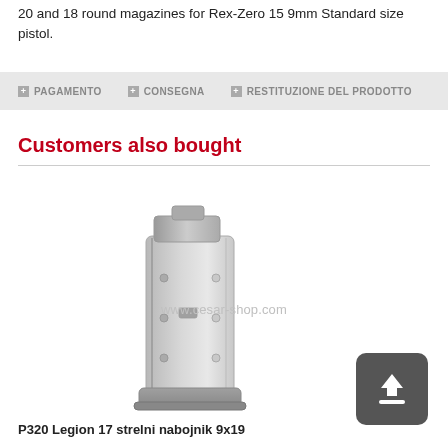20 and 18 round magazines for Rex-Zero 15 9mm Standard size pistol.
+ PAGAMENTO   + CONSEGNA   + RESTITUZIONE DEL PRODOTTO
Customers also bought
[Figure (photo): A silver/grey pistol magazine (P320 Legion 17 strelni nabojnik 9x19) shown at an angle against a white background, with watermark text www.cesar-shop.com]
P320 Legion 17 strelni nabojnik 9x19